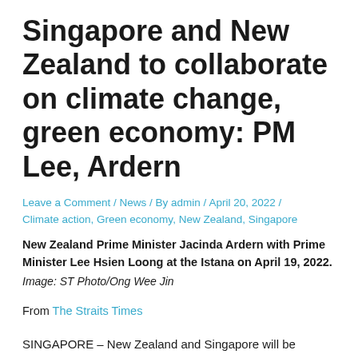Singapore and New Zealand to collaborate on climate change, green economy: PM Lee, Ardern
Leave a Comment / News / By admin / April 20, 2022 / Climate action, Green economy, New Zealand, Singapore
New Zealand Prime Minister Jacinda Ardern with Prime Minister Lee Hsien Loong at the Istana on April 19, 2022. Image: ST Photo/Ong Wee Jin
From The Straits Times
SINGAPORE – New Zealand and Singapore will be working more closely on the green economy and the fight against climate change, Prime Minister Lee Hsien Loong announced on Tuesday (April 19).